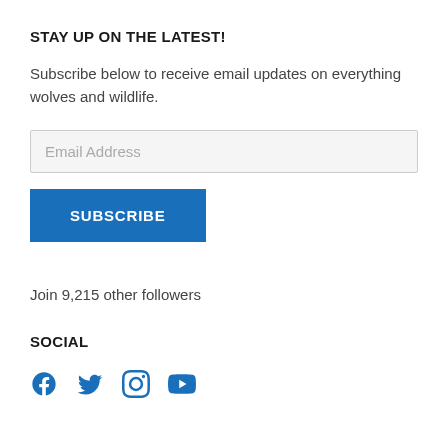STAY UP ON THE LATEST!
Subscribe below to receive email updates on everything wolves and wildlife.
Email Address
SUBSCRIBE
Join 9,215 other followers
SOCIAL
[Figure (infographic): Four social media icons: Facebook, Twitter, Instagram, YouTube in blue]